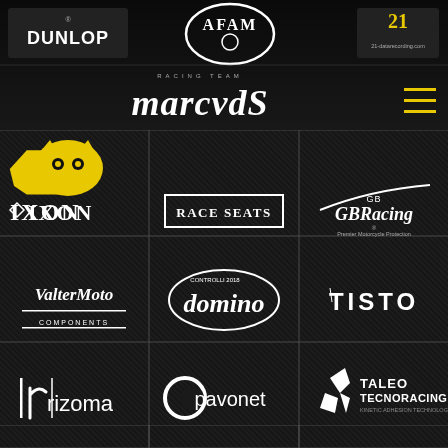[Figure (logo): Marc VDS Racing Team sponsors page header with Dunlop, AFAM, and 21-datarecording.com logos, plus Marc VDS Racing Team logo and hamburger menu icon]
[Figure (logo): Grid of sponsor logos: Row 1: IXON (with yellow cat mascot), RACE SEATS, GB Racing (Premier Motorcycle Protection). Row 2: Valter Moto Components, Domino (controls), TISTO. Row 3: rizoma, pavonet, Taleo Tecnoracing]